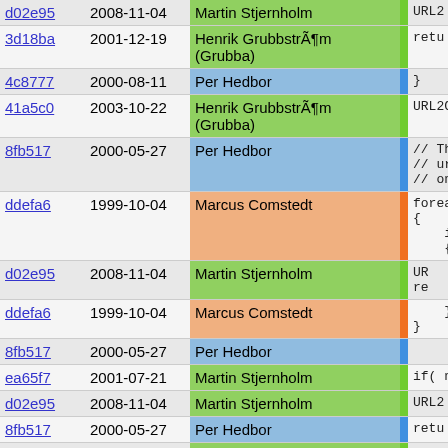| Hash | Date | Author |  | Code |
| --- | --- | --- | --- | --- |
| d02e95 | 2008-11-04 | Martin Stjernholm |  | URL2 |
| 3d18ba | 2001-12-19 | Henrik GrubbstrÃ¶m (Grubba) |  | retu |
| 4c8777 | 2000-08-11 | Per Hedbor |  | } |
| 41a5c0 | 2003-10-22 | Henrik GrubbstrÃ¶m (Grubba) |  | URL2CO |
| 8fb517 | 2000-05-27 | Per Hedbor |  | // The
// url
// one |
| ddefa6 | 1999-10-04 | Marcus Comstedt |  | foreac
{
    if(
    { |
| d02e95 | 2008-11-04 | Martin Stjernholm |  | UR
re |
| ddefa6 | 1999-10-04 | Marcus Comstedt |  | }
} |
| 8fb517 | 2000-05-27 | Per Hedbor |  |  |
| ea65f7 | 2001-07-21 | Martin Stjernholm |  | if( no |
| d02e95 | 2008-11-04 | Martin Stjernholm |  | URL2 |
| 8fb517 | 2000-05-27 | Per Hedbor |  | retu |
| ea65f7 | 2001-07-21 | Martin Stjernholm |  | } |